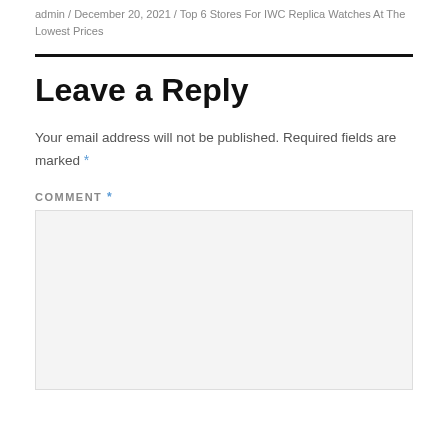admin / December 20, 2021 / Top 6 Stores For IWC Replica Watches At The Lowest Prices
Leave a Reply
Your email address will not be published. Required fields are marked *
COMMENT *